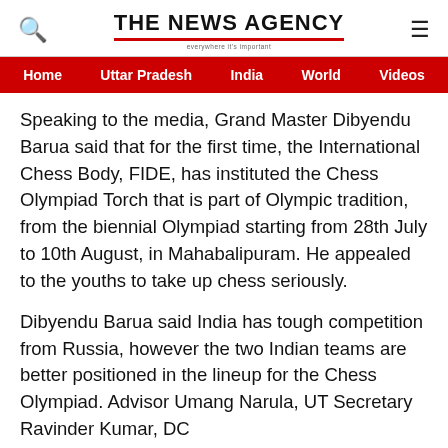THE NEWS AGENCY
Home  Uttar Pradesh  India  World  Videos
Speaking to the media, Grand Master Dibyendu Barua said that for the first time, the International Chess Body, FIDE, has instituted the Chess Olympiad Torch that is part of Olympic tradition, from the biennial Olympiad starting from 28th July to 10th August, in Mahabalipuram. He appealed to the youths to take up chess seriously.
Dibyendu Barua said India has tough competition from Russia, however the two Indian teams are better positioned in the lineup for the Chess Olympiad. Advisor Umang Narula, UT Secretary Ravinder Kumar, DC